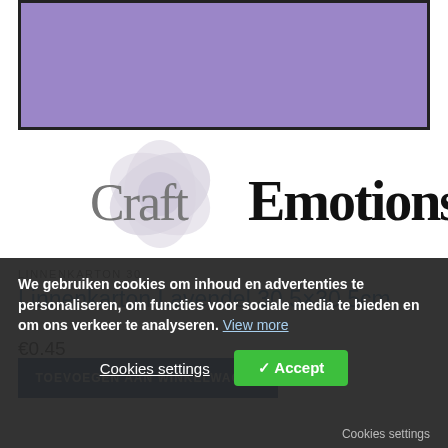[Figure (photo): Lavender colored linen cardboard product image with dark border]
[Figure (logo): CraftEmotions brand logo with flower watermark in background, 'Craft' in grey serif and 'Emotions' in bold black serif]
LINNENKARTON 30
Linnenkarton Lavendel 30.5×30.5cm
€0.45
We gebruiken cookies om inhoud en advertenties te personaliseren, om functies voor sociale media te bieden en om ons verkeer te analyseren. View more
Cookies settings
✓ Accept
Cookies settings